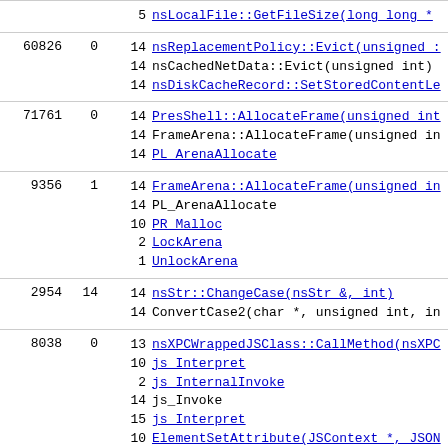| id | val | count | function |
| --- | --- | --- | --- |
|  |  | 5 | nsLocalFile::GetFileSize(long long * |
| 60826 | 0 | 14 | nsReplacementPolicy::Evict(unsigned ... |
| 60826 | 0 | 14 | nsCachedNetData::Evict(unsigned int) |
| 60826 | 0 | 14 | nsDiskCacheRecord::SetStoredContentLe... |
| 71761 | 0 | 14 | PresShell::AllocateFrame(unsigned int... |
| 71761 | 0 | 14 | FrameArena::AllocateFrame(unsigned in... |
| 71761 | 0 | 14 | PL_ArenaAllocate |
| 9356 | 1 | 14 | FrameArena::AllocateFrame(unsigned in... |
| 9356 | 1 | 14 | PL_ArenaAllocate |
| 9356 | 1 | 10 | PR_Malloc |
| 9356 | 1 | 2 | LockArena |
| 9356 | 1 | 1 | UnlockArena |
| 2954 | 14 | 14 | nsStr::ChangeCase(nsStr &, int) |
| 2954 | 14 | 14 | ConvertCase2(char *, unsigned int, in... |
| 8038 | 0 | 13 | nsXPCWrappedJSClass::CallMethod(nsXPC... |
| 8038 | 0 | 10 | js_Interpret |
| 8038 | 0 | 2 | js_InternalInvoke |
| 8038 | 0 | 14 | js_Invoke |
| 8038 | 0 | 15 | js_Interpret |
| 8038 | 0 | 10 | ElementSetAttribute(JSContext *, JSON... |